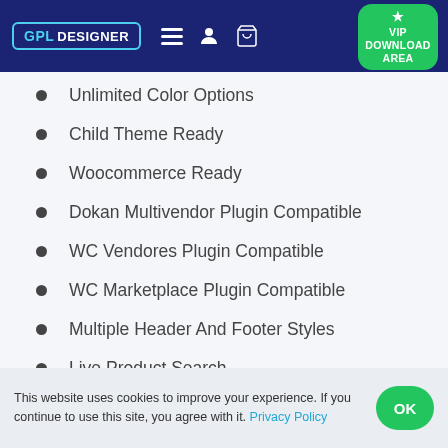GPL DESIGNER — VIP DOWNLOAD AREA
Unlimited Color Options
Child Theme Ready
Woocommerce Ready
Dokan Multivendor Plugin Compatible
WC Vendores Plugin Compatible
WC Marketplace Plugin Compatible
Multiple Header And Footer Styles
Live Product Search
Powerfull Admin Settings
This website uses cookies to improve your experience. If you continue to use this site, you agree with it. Privacy Policy  OK